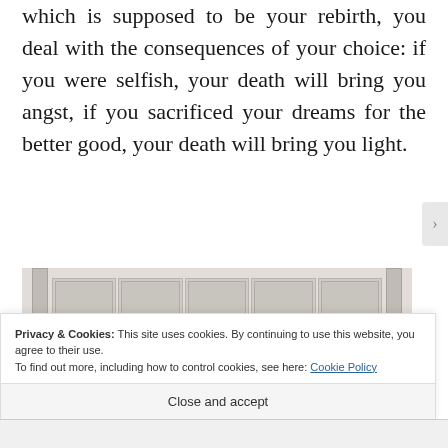which is supposed to be your rebirth, you deal with the consequences of your choice: if you were selfish, your death will bring you angst, if you sacrificed your dreams for the better good, your death will bring you light.
[Figure (photo): A black and white photo of a white garage or storage room interior with multiple panel doors and two vertical posts, with a dark object (possibly a bag or equipment) on the floor in the center.]
Privacy & Cookies: This site uses cookies. By continuing to use this website, you agree to their use.
To find out more, including how to control cookies, see here: Cookie Policy
Close and accept